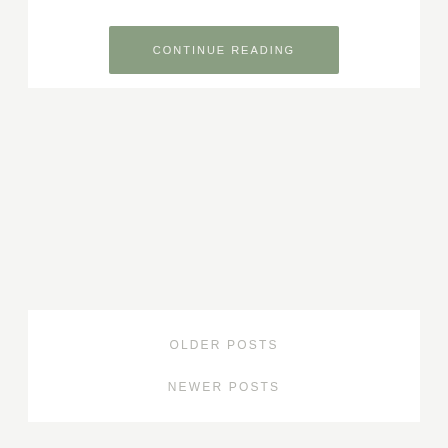CONTINUE READING
OLDER POSTS
NEWER POSTS